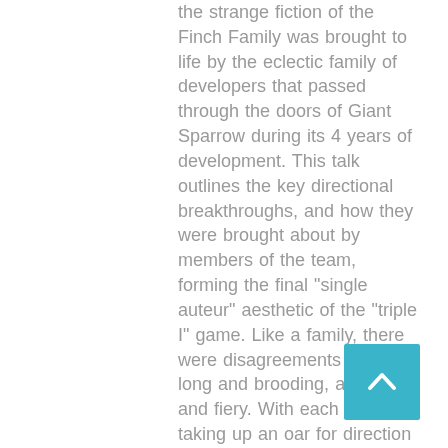the strange fiction of the Finch Family was brought to life by the eclectic family of developers that passed through the doors of Giant Sparrow during its 4 years of development. This talk outlines the key directional breakthroughs, and how they were brought about by members of the team, forming the final "single auteur" aesthetic of the "triple I" game. Like a family, there were disagreements both long and brooding, and bright and fiery. With each persons taking up an oar for direction they dedicated a part of themselves to the
[Figure (other): Teal/cyan square button with a white upward-pointing chevron arrow, used as a scroll-to-top navigation button]